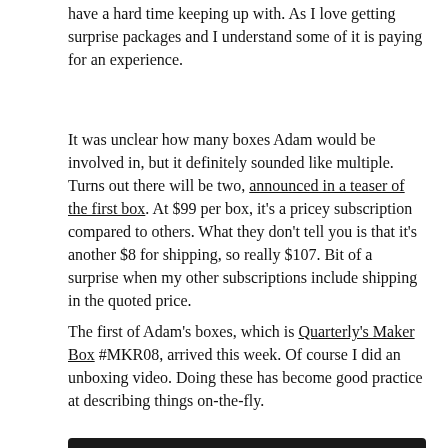have a hard time keeping up with. As I love getting surprise packages and I understand some of it is paying for an experience.
It was unclear how many boxes Adam would be involved in, but it definitely sounded like multiple. Turns out there will be two, announced in a teaser of the first box. At $99 per box, it's a pricey subscription compared to others. What they don't tell you is that it's another $8 for shipping, so really $107. Bit of a surprise when my other subscriptions include shipping in the quoted price.
The first of Adam's boxes, which is Quarterly's Maker Box #MKR08, arrived this week. Of course I did an unboxing video. Doing these has become good practice at describing things on-the-fly.
[Figure (screenshot): YouTube video thumbnail showing a man with sunglasses and the title 'Quarterly Maker Box MKR08 Un...' on a dark background with a three-dot menu icon]